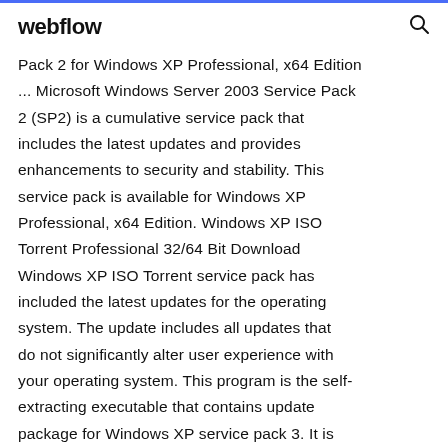webflow
Pack 2 for Windows XP Professional, x64 Edition ... Microsoft Windows Server 2003 Service Pack 2 (SP2) is a cumulative service pack that includes the latest updates and provides enhancements to security and stability. This service pack is available for Windows XP Professional, x64 Edition. Windows XP ISO Torrent Professional 32/64 Bit Download Windows XP ISO Torrent service pack has included the latest updates for the operating system. The update includes all updates that do not significantly alter user experience with your operating system. This program is the self-extracting executable that contains update package for Windows XP service pack 3. It is